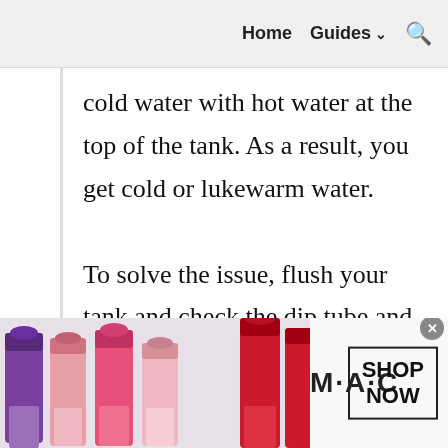Home   Guides ∨   🔍
cold water with hot water at the top of the tank. As a result, you get cold or lukewarm water.

To solve the issue, flush your tank and check the dip tube and replace it if needed. It would be wise to take
[Figure (screenshot): MAC Cosmetics advertisement showing lipsticks in purple, pink, and red colors with MAC logo and SHOP NOW button]